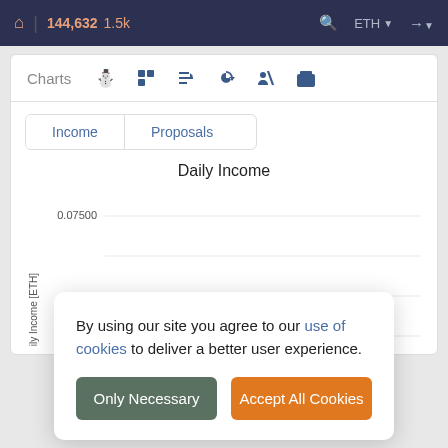🏠 | 144,632 1.5k  🔍 ETH ➡
Charts
Income
Proposals
Daily Income
[Figure (continuous-plot): Daily Income chart with y-axis showing 0.07500, labeled 'Daily Income [ETH]'. Chart content partially obscured by cookie consent overlay.]
By using our site you agree to our use of cookies to deliver a better user experience.
Only Necessary
Accept All Cookies